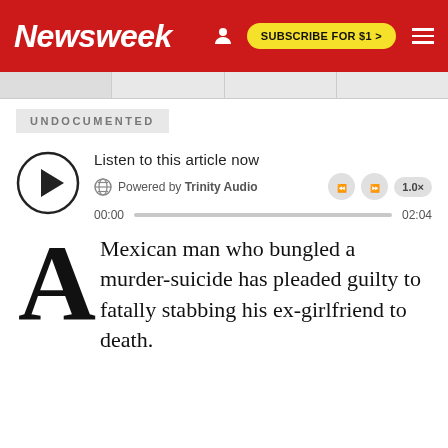Newsweek — SUBSCRIBE FOR $1 >
UNDOCUMENTED
[Figure (other): Audio player widget: Listen to this article now, Powered by Trinity Audio, 00:00 to 02:04]
A Mexican man who bungled a murder-suicide has pleaded guilty to fatally stabbing his ex-girlfriend to death.